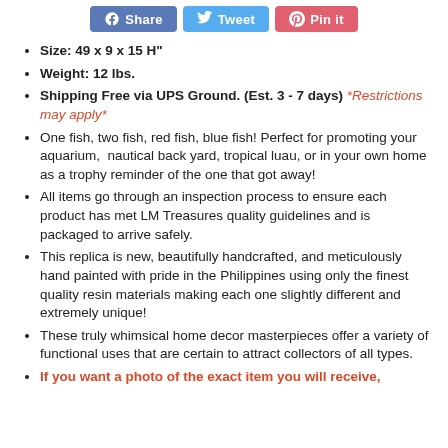[Figure (screenshot): Social sharing buttons: Facebook Share (blue), Twitter Tweet (light blue), Pinterest Pin it (red/pink)]
Size: 49 x 9 x 15 H"
Weight: 12 lbs.
Shipping Free via UPS Ground. (Est. 3 - 7 days) *Restrictions may apply*
One fish, two fish, red fish, blue fish! Perfect for promoting your aquarium,  nautical back yard, tropical luau, or in your own home as a trophy reminder of the one that got away!
All items go through an inspection process to ensure each product has met LM Treasures quality guidelines and is packaged to arrive safely.
This replica is new, beautifully handcrafted, and meticulously hand painted with pride in the Philippines using only the finest quality resin materials making each one slightly different and extremely unique!
These truly whimsical home decor masterpieces offer a variety of functional uses that are certain to attract collectors of all types.
If you want a photo of the exact item you will receive,